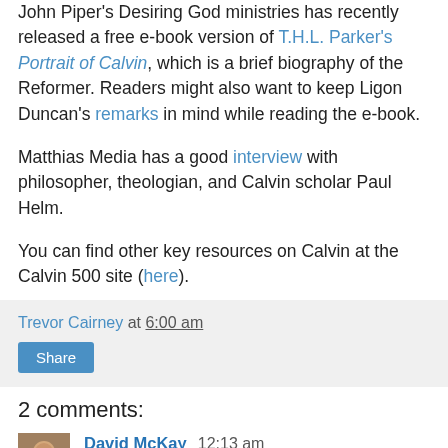John Piper's Desiring God ministries has recently released a free e-book version of T.H.L. Parker's Portrait of Calvin, which is a brief biography of the Reformer. Readers might also want to keep Ligon Duncan's remarks in mind while reading the e-book.
Matthias Media has a good interview with philosopher, theologian, and Calvin scholar Paul Helm.
You can find other key resources on Calvin at the Calvin 500 site (here).
Trevor Cairney at 6:00 am
Share
2 comments:
David McKay 12:13 am
In my experience, many Christians know little about Calvin, but some are they about liking him.